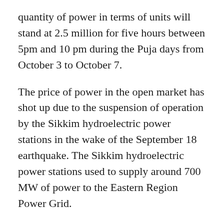quantity of power in terms of units will stand at 2.5 million for five hours between 5pm and 10 pm during the Puja days from October 3 to October 7.
The price of power in the open market has shot up due to the suspension of operation by the Sikkim hydroelectric power stations in the wake of the September 18 earthquake. The Sikkim hydroelectric power stations used to supply around 700 MW of power to the Eastern Region Power Grid.
Besides, the rainless condition has also affected the supply position and raised the demand of power in the State, said the sources.
During the Puja days, due to the holidays observed by the offices and industries, around 100 MW of power is the